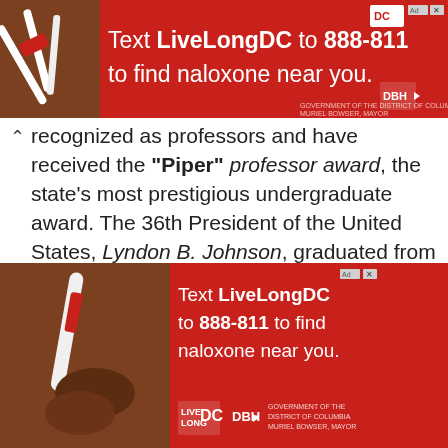[Figure (infographic): Red advertisement banner: Text LiveLongDC to 888-811 to find naloxone near you. Shows hands holding nasal spray. DC and DBH logos visible.]
recognized as professors and have received the "Piper" professor award, the state's most prestigious undergraduate award. The 36th President of the United States, Lyndon B. Johnson, graduated from this university.
Other Texas State University featured in the webcam graduates are: Barbara Charline Jordan – American politician and civil rights leader; Yolanda Yvette Adams
This site uses cookies, as explained in our cookie policy. If you agree to our use of cookies, please close this message and continue to use this site.
Cookie settings
[Figure (infographic): Partial red advertisement banner: Text LiveLongDC to 888-811 to find naloxone near you. Hands holding nasal spray on left. Logos at bottom.]